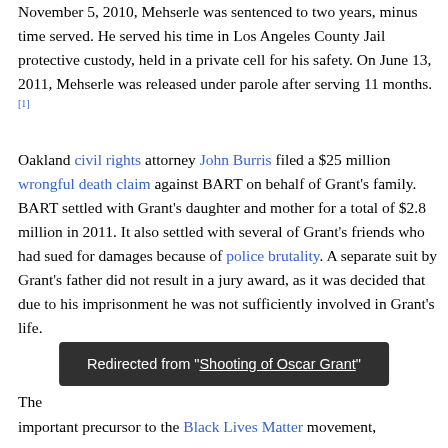November 5, 2010, Mehserle was sentenced to two years, minus time served. He served his time in Los Angeles County Jail protective custody, held in a private cell for his safety. On June 13, 2011, Mehserle was released under parole after serving 11 months.[1]
Oakland civil rights attorney John Burris filed a $25 million wrongful death claim against BART on behalf of Grant's family. BART settled with Grant's daughter and mother for a total of $2.8 million in 2011. It also settled with several of Grant's friends who had sued for damages because of police brutality. A separate suit by Grant's father did not result in a jury award, as it was decided that due to his imprisonment he was not sufficiently involved in Grant's life.
The [partially obscured] important precursor to the Black Lives Matter movement, which began in 2013.[2] The [obscured]
Redirected from "Shooting of Oscar Grant"